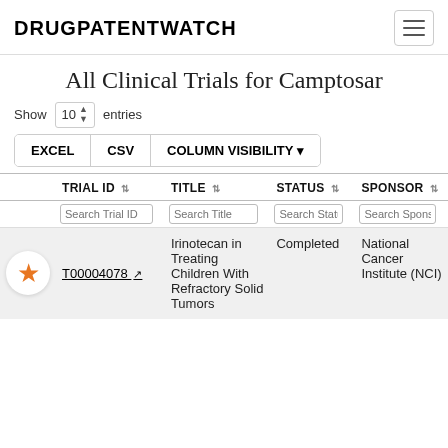DRUGPATENTWATCH
All Clinical Trials for Camptosar
Show 10 entries
EXCEL   CSV   COLUMN VISIBILITY ▼
| TRIAL ID | TITLE | STATUS | SPONSOR |
| --- | --- | --- | --- |
| T00004078 ↗ | Irinotecan in Treating Children With Refractory Solid Tumors | Completed | National Cancer Institute (NCI) |